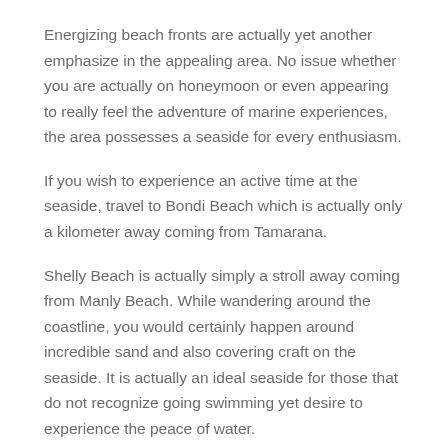Energizing beach fronts are actually yet another emphasize in the appealing area. No issue whether you are actually on honeymoon or even appearing to really feel the adventure of marine experiences, the area possesses a seaside for every enthusiasm.
If you wish to experience an active time at the seaside, travel to Bondi Beach which is actually only a kilometer away coming from Tamarana.
Shelly Beach is actually simply a stroll away coming from Manly Beach. While wandering around the coastline, you would certainly happen around incredible sand and also covering craft on the seaside. It is actually an ideal seaside for those that do not recognize going swimming yet desire to experience the peace of water.
Probably, this is actually the very most well-liked coastline in